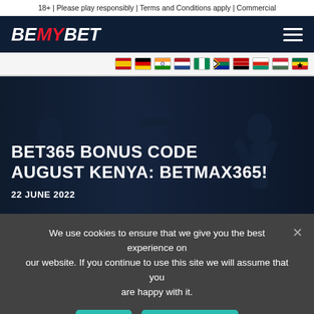18+ | Please play responsibly | Terms and Conditions apply | Commercial
[Figure (logo): BeMyBet logo in white and red on dark navy background, with hamburger menu icon on the right]
[Figure (infographic): Row of country flag icons: Spain, Germany, India, Netherlands, Nigeria, South Africa, Kenya, Bulgaria, Hungary, Ghana]
[Figure (photo): Hero image showing three sports athletes (boxer, cricket player, tennis player) in dark blue tinted background]
BET365 BONUS CODE AUGUST KENYA: BETMAX365!
22 JUNE 2022
We use cookies to ensure that we give you the best experience on our website. If you continue to use this site we will assume that you are happy with it.